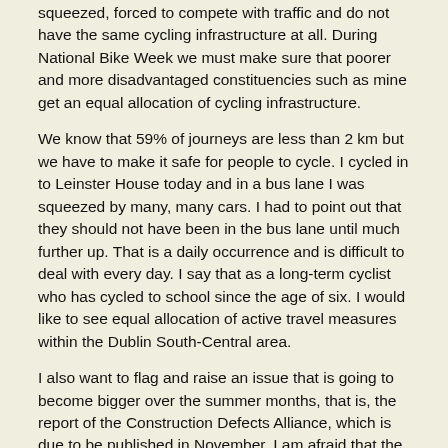squeezed, forced to compete with traffic and do not have the same cycling infrastructure at all. During National Bike Week we must make sure that poorer and more disadvantaged constituencies such as mine get an equal allocation of cycling infrastructure.
We know that 59% of journeys are less than 2 km but we have to make it safe for people to cycle. I cycled in to Leinster House today and in a bus lane I was squeezed by many, many cars. I had to point out that they should not have been in the bus lane until much further up. That is a daily occurrence and is difficult to deal with every day. I say that as a long-term cyclist who has cycled to school since the age of six. I would like to see equal allocation of active travel measures within the Dublin South-Central area.
I also want to flag and raise an issue that is going to become bigger over the summer months, that is, the report of the Construction Defects Alliance, which is due to be published in November. I am afraid that the clock will be allowed to tick down on this when the report is handed over to the Minister. There are many people living in apartment complexes in my area who are dealing with huge individual bills for fire defects that were caused through no fault of their own.While we have a redress scheme for mica, what seems to be emerging for construction defects are low-cost loans. That unequal treatment of people who live in urban centres and apartments is unacceptable. I ask that we keep an eye on this and, when the report is published, provision be immediately made for